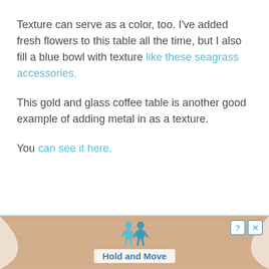Texture can serve as a color, too. I've added fresh flowers to this table all the time, but I also fill a blue bowl with texture like these seagrass accessories.
This gold and glass coffee table is another good example of adding metal in as a texture.
You can see it here.
[Figure (screenshot): Advertisement banner at the bottom of the page showing a wood-textured background with blue cartoon figures and text 'Hold and Move' with a help (?) and close (X) button in the top right corner.]